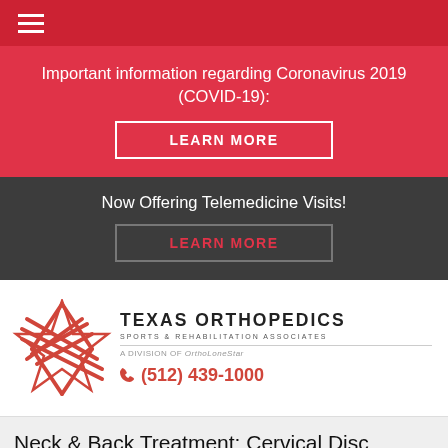Navigation menu (hamburger icon)
Important information regarding Coronavirus 2019 (COVID-19):
LEARN MORE
Now Offering Telemedicine Visits!
LEARN MORE
[Figure (logo): Texas Orthopedics Sports & Rehabilitation Associates logo with star graphic, subtitle 'A Division of OrthoLoneStar', and phone number (512) 439-1000]
Neck & Back Treatment: Cervical Disc Replacement